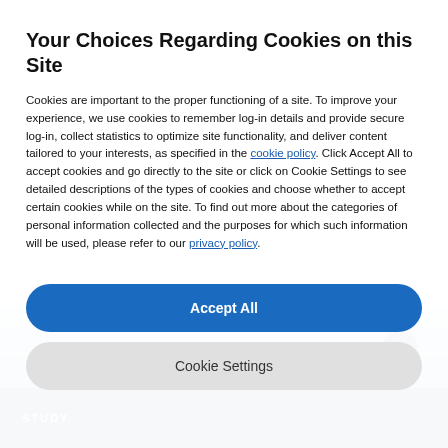Your Choices Regarding Cookies on this Site
Cookies are important to the proper functioning of a site. To improve your experience, we use cookies to remember log-in details and provide secure log-in, collect statistics to optimize site functionality, and deliver content tailored to your interests, as specified in the cookie policy. Click Accept All to accept cookies and go directly to the site or click on Cookie Settings to see detailed descriptions of the types of cookies and choose whether to accept certain cookies while on the site. To find out more about the categories of personal information collected and the purposes for which such information will be used, please refer to our privacy policy.
[Figure (photo): Background webpage showing a medical/study related image with a dark blue footer bar and 'STUDY' text label]
STUDY